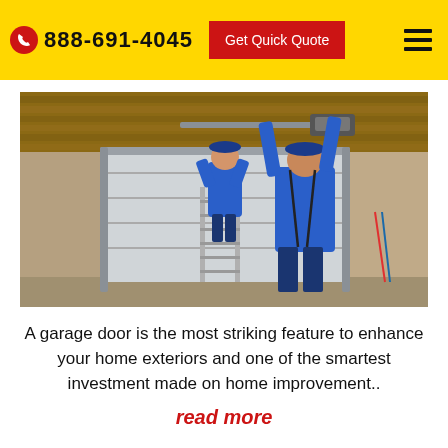888-691-4045  Get Quick Quote
[Figure (photo): Two workers in blue uniforms installing a sectional garage door from the inside of a garage. One worker is on a ladder, another is reaching up toward the ceiling track. Wooden ceiling beams and metal tracks visible.]
A garage door is the most striking feature to enhance your home exteriors and one of the smartest investment made on home improvement..
read more